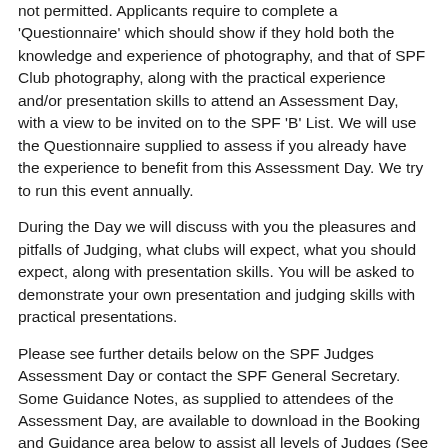not permitted. Applicants require to complete a 'Questionnaire' which should show if they hold both the knowledge and experience of photography, and that of SPF Club photography, along with the practical experience and/or presentation skills to attend an Assessment Day, with a view to be invited on to the SPF 'B' List. We will use the Questionnaire supplied to assess if you already have the experience to benefit from this Assessment Day. We try to run this event annually.
During the Day we will discuss with you the pleasures and pitfalls of Judging, what clubs will expect, what you should expect, along with presentation skills. You will be asked to demonstrate your own presentation and judging skills with practical presentations.
Please see further details below on the SPF Judges Assessment Day or contact the SPF General Secretary. Some Guidance Notes, as supplied to attendees of the Assessment Day, are available to download in the Booking and Guidance area below to assist all levels of Judges (See Judges Guidance Notes 1, 2 and 3)